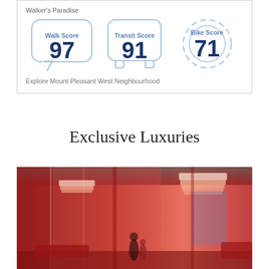[Figure (infographic): Walk Score 97 (speech bubble), Transit Score 91 (bus icon), Bike Score 71 (gear icon) for Walker's Paradise neighbourhood scores]
Explore Mount Pleasant West Neighbourhood
Exclusive Luxuries
[Figure (photo): Interior rendering of a luxury lobby/lounge with red tones, glass walls, pendant lighting strips, and people standing inside]